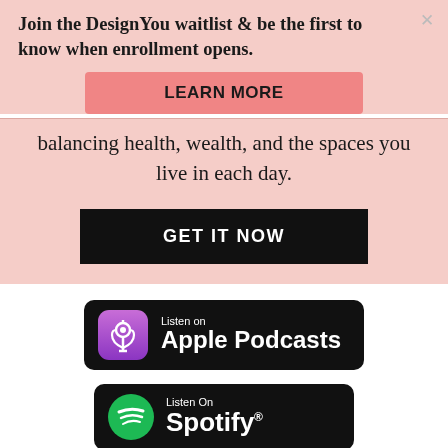Join the DesignYou waitlist & be the first to know when enrollment opens.
[Figure (other): LEARN MORE button - pink/salmon rounded rectangle]
balancing health, wealth, and the spaces you live in each day.
[Figure (other): GET IT NOW button - black rectangle]
[Figure (other): Listen on Apple Podcasts badge - black rounded rectangle with purple podcast icon]
[Figure (other): Listen On Spotify badge - black rounded rectangle with green Spotify icon]